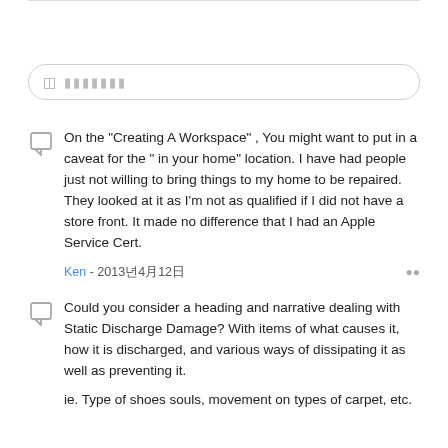[Figure (screenshot): Comment input box with speech bubble icon and placeholder text]
On the "Creating A Workspace" , You might want to put in a caveat for the " in your home" location. I have had people just not willing to bring things to my home to be repaired. They looked at it as I'm not as qualified if I did not have a store front. It made no difference that I had an Apple Service Cert.
Ken - 2013년4월12일
Could you consider a heading and narrative dealing with Static Discharge Damage? With items of what causes it, how it is discharged, and various ways of dissipating it as well as preventing it.
ie. Type of shoes souls, movement on types of carpet, etc.